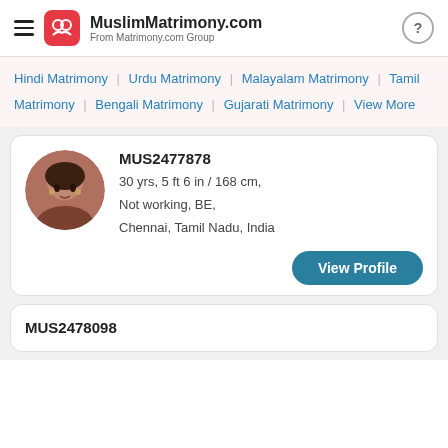MuslimMatrimony.com — From Matrimony.com Group
Hindi Matrimony | Urdu Matrimony | Malayalam Matrimony | Tamil
Matrimony | Bengali Matrimony | Gujarati Matrimony | View More
MUS2477878
30 yrs, 5 ft 6 in / 168 cm,
Not working, BE,
Chennai, Tamil Nadu, India
View Profile
MUS2478098